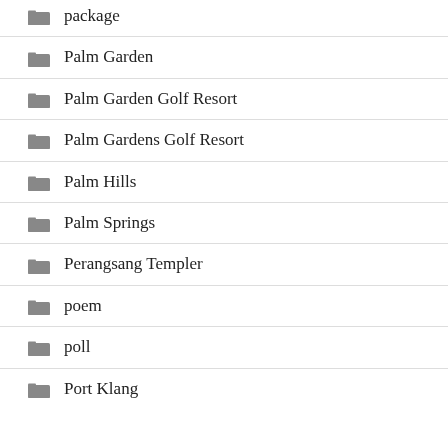package
Palm Garden
Palm Garden Golf Resort
Palm Gardens Golf Resort
Palm Hills
Palm Springs
Perangsang Templer
poem
poll
Port Klang